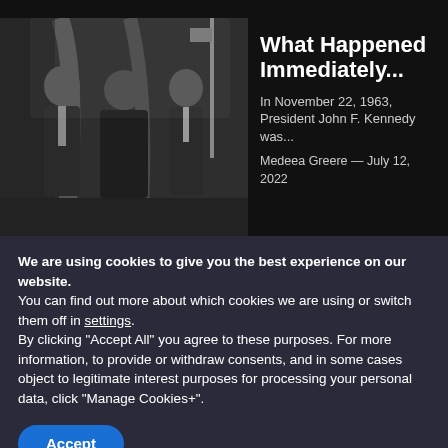[Figure (photo): Black and white photograph of three men in suits, appearing to be in a formal government or office setting with curtains and a flag in the background.]
What Happened Immediately...
In November 22, 1963, President John F. Kennedy was...
Medeea Greere — July 12, 2022
We are using cookies to give you the best experience on our website.
You can find out more about which cookies we are using or switch them off in settings.
By clicking “Accept All” you agree to these purposes. For more information, to provide or withdraw consents, and in some cases object to legitimate interest purposes for processing your personal data, click “Manage Cookies+”.
Accept